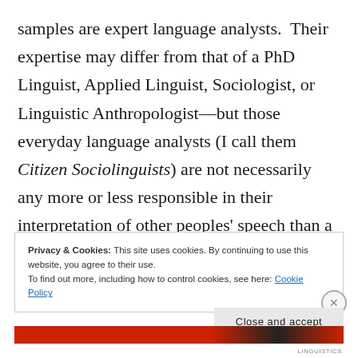samples are expert language analysts. Their expertise may differ from that of a PhD Linguist, Applied Linguist, Sociologist, or Linguistic Anthropologist—but those everyday language analysts (I call them Citizen Sociolinguists) are not necessarily any more or less responsible in their interpretation of other peoples' speech than a trained academic researcher.
Privacy & Cookies: This site uses cookies. By continuing to use this website, you agree to their use.
To find out more, including how to control cookies, see here: Cookie Policy
Close and accept